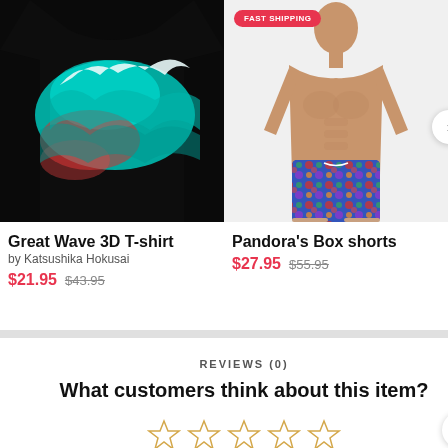[Figure (photo): Great Wave 3D T-shirt product image with colorful wave graphic on black background]
[Figure (photo): Pandora's Box shorts worn by male model, with FAST SHIPPING badge in top left corner]
Great Wave 3D T-shirt
by Katsushika Hokusai
$21.95  $43.95
Pandora's Box shorts
$27.95  $55.95
REVIEWS (0)
What customers think about this item?
[Figure (illustration): Five empty star rating icons in a row]